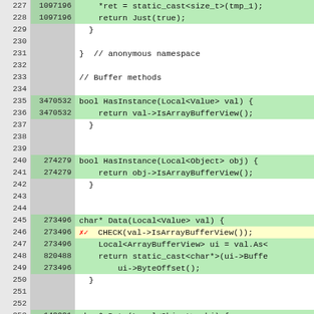[Figure (screenshot): Code coverage viewer showing C++ source lines 227-253 with line numbers, execution counts, and color-coded coverage highlighting. Green lines are covered, white lines are uncovered. A red X/checkmark marker appears at line 246.]